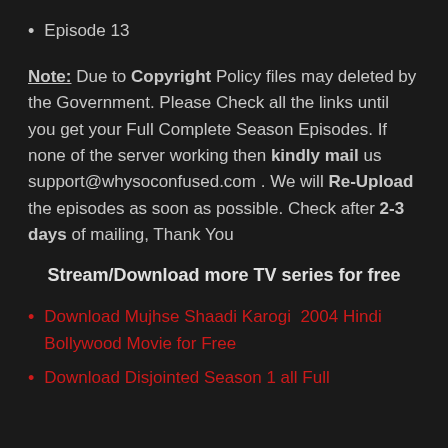Episode 13
Note: Due to Copyright Policy files may deleted by the Government. Please Check all the links until you get your Full Complete Season Episodes. If none of the server working then kindly mail us support@whysoconfused.com . We will Re-Upload the episodes as soon as possible. Check after 2-3 days of mailing, Thank You
Stream/Download more TV series for free
Download Mujhse Shaadi Karogi  2004 Hindi Bollywood Movie for Free
Download Disjointed Season 1 all Full